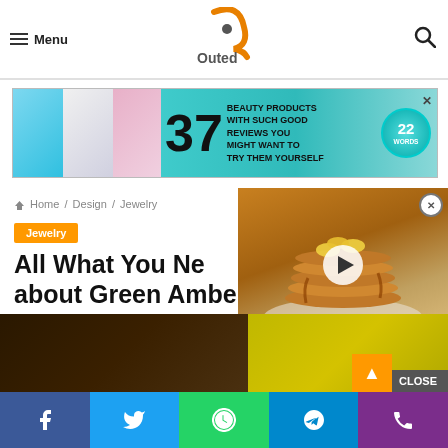≡ Menu  [Logo: Pointed/Outed]  🔍
[Figure (infographic): Advertisement banner: 37 Beauty Products With Such Good Reviews You Might Want To Try Them Yourself]
Home / Design / Jewelry
Jewelry
All What You Need to Know about Green Amber Jewelry
[Figure (photo): Stack of pancakes with banana slices, video popup overlay with play button]
[Figure (photo): Bottom image strip showing food items]
Facebook | Twitter | WhatsApp | Telegram | Phone